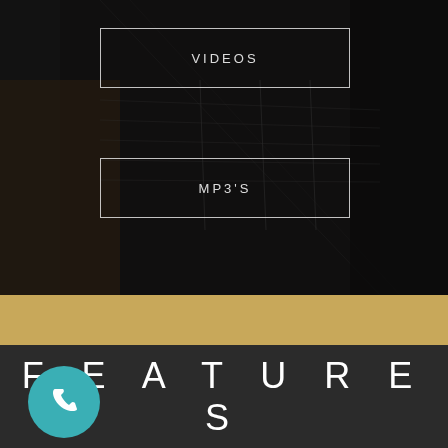[Figure (photo): Dark background photo of someone playing an acoustic guitar, close-up of guitar neck and strings with hands]
VIDEOS
MP3'S
FEATURES
[Figure (illustration): Teal circular button with white phone/call icon]